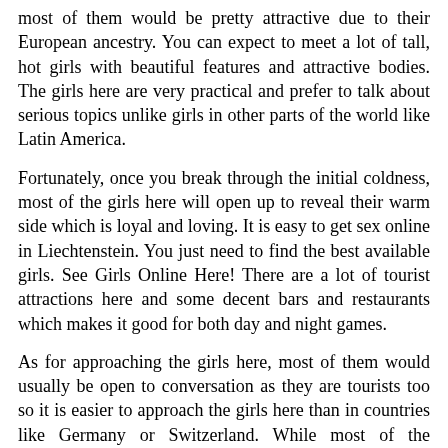most of them would be pretty attractive due to their European ancestry. You can expect to meet a lot of tall, hot girls with beautiful features and attractive bodies. The girls here are very practical and prefer to talk about serious topics unlike girls in other parts of the world like Latin America.
Fortunately, once you break through the initial coldness, most of the girls here will open up to reveal their warm side which is loyal and loving. It is easy to get sex online in Liechtenstein. You just need to find the best available girls. See Girls Online Here! There are a lot of tourist attractions here and some decent bars and restaurants which makes it good for both day and night games.
As for approaching the girls here, most of them would usually be open to conversation as they are tourists too so it is easier to approach the girls here than in countries like Germany or Switzerland. While most of the European girls are known to be cold and kind of hard to pick up, the girls in Liechtenstein are easier to pick up due to the holiday nature of the place. Gaming during the day might not give you the best here but it is worth a try.
There are a lot of places like tourist attractions, cafes and other places in Liechtenstein where you can meet a lot of hot girls here. However, with all that being said, the chance of picking up girls in the daytime here is not really that bad. They are also usually not